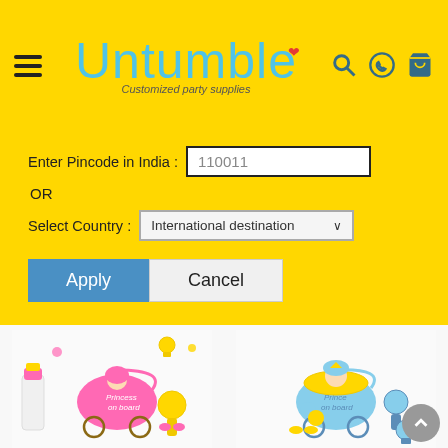[Figure (screenshot): Untumble website header with hamburger menu, logo reading 'Untumble - Customized party supplies', and icons for search, WhatsApp, and cart on a yellow background]
[Figure (screenshot): Pincode/country selector form with input showing 110011, OR label, International destination dropdown, Apply and Cancel buttons on yellow background]
[Figure (photo): Pink Baby Shower theme poster featuring baby girl in pink carriage surrounded by pink and yellow baby items]
Pink Baby Shower theme Posters pack
Rs. 225.00
[Figure (photo): Blue Baby Boy posters for a Baby Shower featuring baby boy in blue carriage with blue and yellow baby items]
Blue Baby Boy posters for a Baby Shower
Rs. 225.00